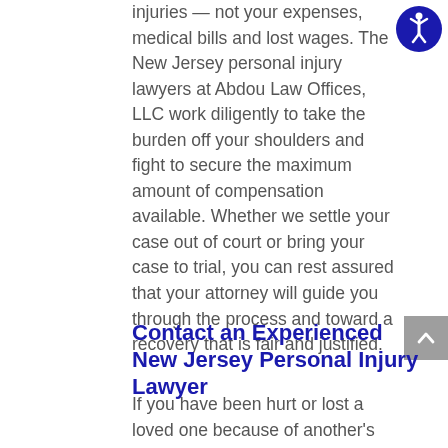injuries — not your expenses, medical bills and lost wages. The New Jersey personal injury lawyers at Abdou Law Offices, LLC work diligently to take the burden off your shoulders and fight to secure the maximum amount of compensation available. Whether we settle your case out of court or bring your case to trial, you can rest assured that your attorney will guide you through the process and toward a recovery that is fair and justified.
Contact an Experienced New Jersey Personal Injury Lawyer
If you have been hurt or lost a loved one because of another's negligence, a knowledgeable New Jersey personal injury